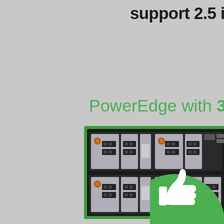support 2.5 in
PowerEdge with 3.5
[Figure (photo): Dell PowerEdge server front panel showing four 3.5-inch drive bays with large form factor hard drives installed, outlined with a green border rectangle]
[Figure (illustration): Green circle with white thumbs-up icon, partially cropped at the bottom right of the page]